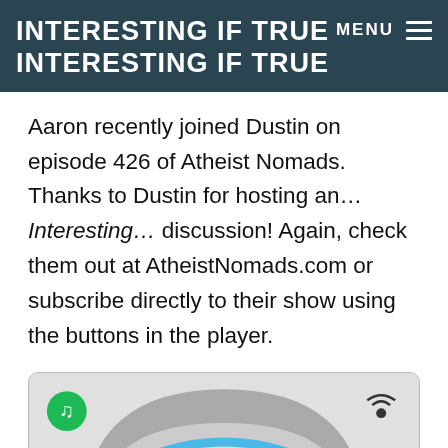INTERESTING IF TRUE INTERESTING IF TRUE
Aaron recently joined Dustin on episode 426 of Atheist Nomads. Thanks to Dustin for hosting an… Interesting… discussion! Again, check them out at AtheistNomads.com or subscribe directly to their show using the buttons in the player.
[Figure (screenshot): Podcast player widget with Spotify icon on left and podcast/wifi icon on right, with a partial illustration of headphones visible at the bottom.]